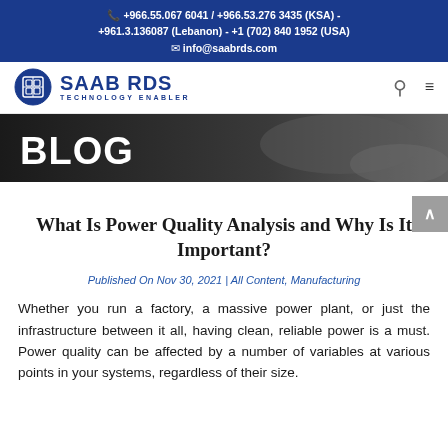+966.55.067 6041 / +966.53.276 3435 (KSA) - +961.3.136087 (Lebanon) - +1 (702) 840 1952 (USA)
info@saabrds.com
[Figure (logo): SAAB RDS Technology Enabler logo with circular emblem]
[Figure (photo): Blog banner with dark background and white BLOG text]
What Is Power Quality Analysis and Why Is It Important?
Published On Nov 30, 2021 | All Content, Manufacturing
Whether you run a factory, a massive power plant, or just the infrastructure between it all, having clean, reliable power is a must. Power quality can be affected by a number of variables at various points in your systems, regardless of their size. The...